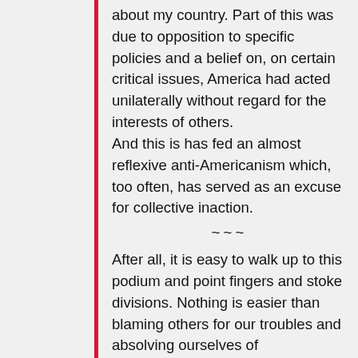about my country. Part of this was due to opposition to specific policies and a belief on, on certain critical issues, America had acted unilaterally without regard for the interests of others. And this is has fed an almost reflexive anti-Americanism which, too often, has served as an excuse for collective inaction.
~~~
After all, it is easy to walk up to this podium and point fingers and stoke divisions. Nothing is easier than blaming others for our troubles and absolving ourselves of responsibility for our choices and our actions. Anybody can do that.